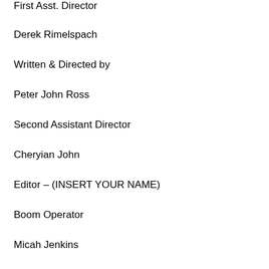First Asst. Director
Derek Rimelspach
Written & Directed by
Peter John Ross
Second Assistant Director
Cheryian John
Editor – (INSERT YOUR NAME)
Boom Operator
Micah Jenkins